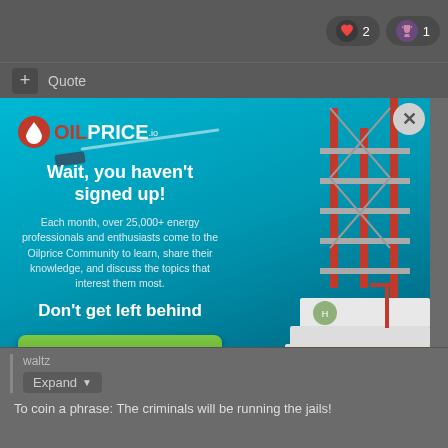[Figure (screenshot): Top navigation bar with heart icon showing count 2 and trophy icon showing count 1, plus Quote button]
[Figure (screenshot): OilPrice.com popup advertisement with oil rig background. Headline: 'Wait, you haven't signed up!' Body text about 25,000+ energy professionals. 'Don't get left behind' subline. Green 'Sign Up Today!' button.]
waltz
Expand
To coin a phrase:  The criminals will be running the jails!